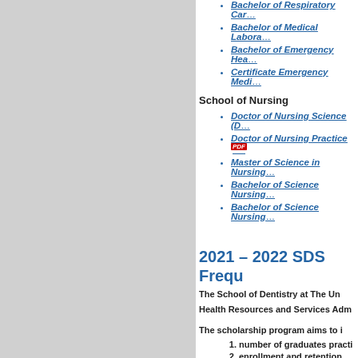Bachelor of Respiratory Care
Bachelor of Medical Laboratory
Bachelor of Emergency Health
Certificate Emergency Medic
School of Nursing
Doctor of Nursing Science (D
Doctor of Nursing Practice [PDF]
Master of Science in Nursing
Bachelor of Science Nursing
Bachelor of Science Nursing
2021 – 2022 SDS Frequ
The School of Dentistry at The Un
Health Resources and Services Adm
The scholarship program aims to i
number of graduates practi
enrollment and retention